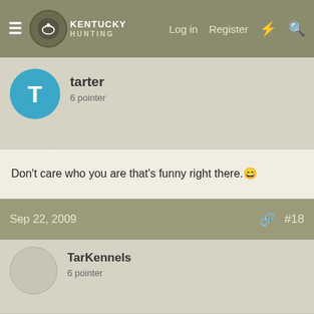Kentucky Hunting — Log in | Register
tarter
6 pointer
Don't care who you are that's funny right there. 😁
Sep 22, 2009  #18
TarKennels
6 pointer
Turtle man and these guys are making movies,now coming to a walmart near you real soon